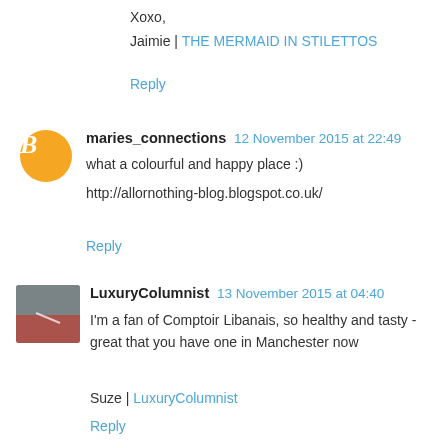Xoxo,
Jaimie | THE MERMAID IN STILETTOS
Reply
maries_connections 12 November 2015 at 22:49
what a colourful and happy place :)
http://allornothing-blog.blogspot.co.uk/
Reply
LuxuryColumnist 13 November 2015 at 04:40
I'm a fan of Comptoir Libanais, so healthy and tasty - great that you have one in Manchester now
Suze | LuxuryColumnist
Reply